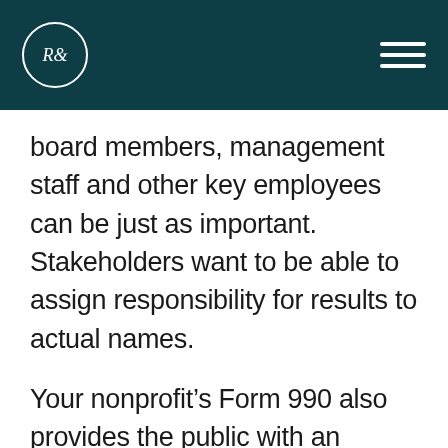R& logo and navigation menu
board members, management staff and other key employees can be just as important. Stakeholders want to be able to assign responsibility for results to actual names.
Your nonprofit’s Form 990 also provides the public with an overview of your organization’s programs, finances, governance, compliance and compensation methods. Notably, charity watchdog groups use 990 information to rate nonprofits.